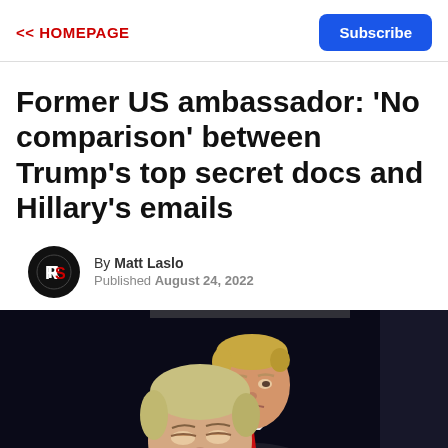<< HOMEPAGE | Subscribe
Former US ambassador: 'No comparison' between Trump's top secret docs and Hillary's emails
By Matt Laslo
Published August 24, 2022
[Figure (photo): Photo of Donald Trump standing behind Hillary Clinton, apparently from a debate setting. Dark background, Trump wearing a dark suit with red tie, Clinton in foreground with blonde hair.]